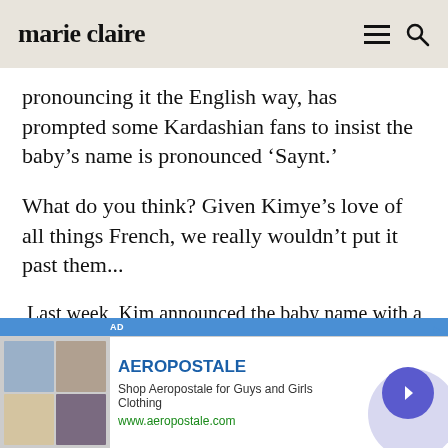marie claire
pronouncing it the English way, has prompted some Kardashian fans to insist the baby’s name is pronounced ‘Saynt.’
What do you think? Given Kimye’s love of all things French, we really wouldn’t put it past them...
Last week, Kim announced the baby name with a picture of the family together (in emojis, natch), with the simple
[Figure (screenshot): Aeropostale advertisement banner with brand logo, tagline 'Shop Aeropostale for Guys and Girls Clothing', URL 'www.aeropostale.com', clothing images on left, navigation arrow button on right]